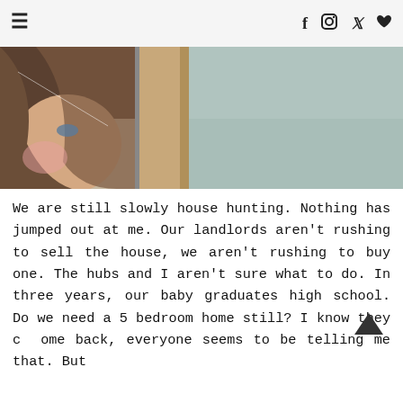≡  f  ♡ (social icons: Facebook, Instagram, Twitter, Heart)
[Figure (photo): Two-panel photo: left panel shows a close-up of a woman's face with blonde wavy hair; right panel shows a door frame and a plain sage/mint colored wall.]
We are still slowly house hunting. Nothing has jumped out at me. Our landlords aren't rushing to sell the house, we aren't rushing to buy one. The hubs and I aren't sure what to do. In three years, our baby graduates high school. Do we need a 5 bedroom home still? I know they come back, everyone seems to be telling me that. But